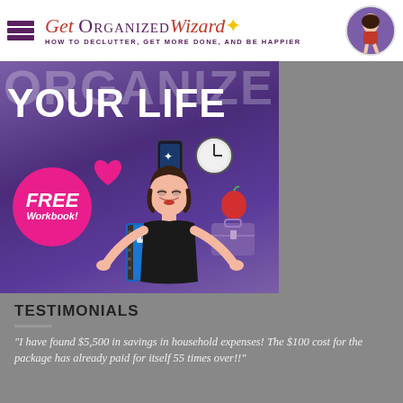Get Organized Wizard — HOW TO DECLUTTER, GET MORE DONE, AND BE HAPPIER
[Figure (illustration): Promotional image with purple/violet gradient background. Large white text reading 'ORGANIZE YOUR LIFE' overlaid with semi-transparent large letters. A pink circle badge reads 'FREE Workbook!' on the left. Center shows a cartoon woman in black outfit with arms outstretched, surrounded by floating icons: smartphone, clock, heart, notebook/planner, red apple, purple briefcase.]
TESTIMONIALS
"I have found $5,500 in savings in household expenses! The $100 cost for the package has already paid for itself 55 times over!!"